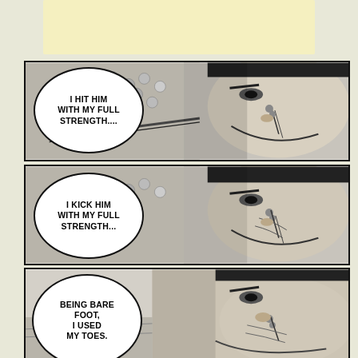[Figure (illustration): Yellow/cream colored banner rectangle at top of page]
[Figure (illustration): Manga panel 1: Close-up of a bruised fighter's face with speech bubble saying 'I HIT HIM WITH MY FULL STRENGTH....' with crowd in background]
[Figure (illustration): Manga panel 2: Close-up of same bruised fighter's face with speech bubble saying 'I KICK HIM WITH MY FULL STRENGTH...' with crowd in background]
[Figure (illustration): Manga panel 3: Close-up of fighter's face with speech bubble saying 'BEING BARE FOOT, I USED MY TOES.']